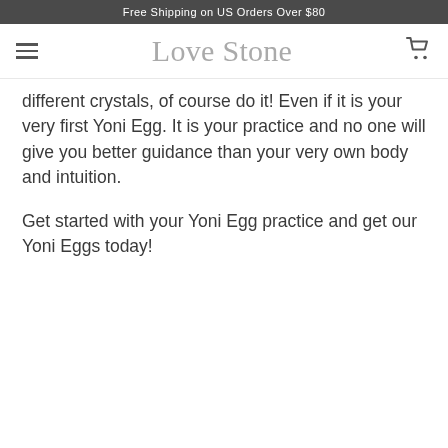Free Shipping on US Orders Over $80
[Figure (logo): Love Stone handwritten script logo with hamburger menu icon on left and shopping cart icon on right]
different crystals, of course do it! Even if it is your very first Yoni Egg. It is your practice and no one will give you better guidance than your very own body and intuition.
Get started with your Yoni Egg practice and get our Yoni Eggs today!